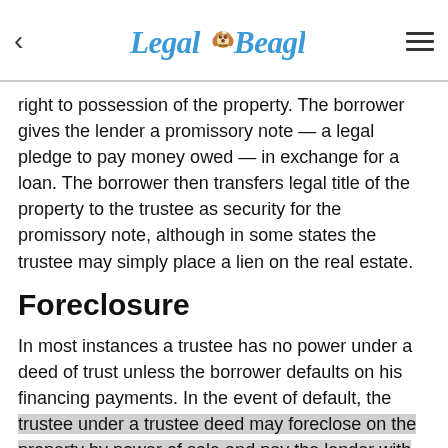Legal Beagle
right to possession of the property. The borrower gives the lender a promissory note — a legal pledge to pay money owed — in exchange for a loan. The borrower then transfers legal title of the property to the trustee as security for the promissory note, although in some states the trustee may simply place a lien on the real estate.
Foreclosure
In most instances a trustee has no power under a deed of trust unless the borrower defaults on his financing payments. In the event of default, the trustee under a trustee deed may foreclose on the property by power of sale and pay the lender with